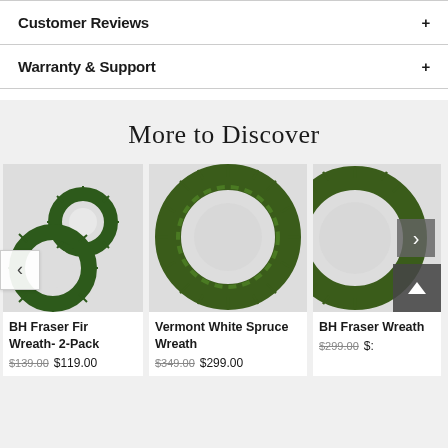Customer Reviews
Warranty & Support
More to Discover
[Figure (photo): BH Fraser Fir Wreath 2-Pack product image showing two green pine wreaths on white background]
BH Fraser Fir Wreath- 2-Pack
$139.00 $119.00
[Figure (photo): Vermont White Spruce Wreath product image showing one large green pine wreath on white background]
Vermont White Spruce Wreath
$349.00 $299.00
[Figure (photo): BH Fraser Wreath product image showing partial green pine wreath on right side]
BH Fraser Wreath
$299.00 $: